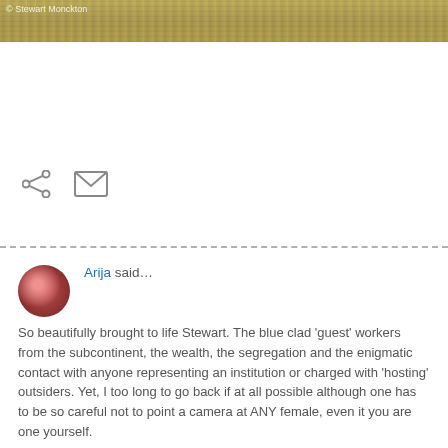[Figure (photo): Partial photo strip at top of page showing birds or wildlife near water, with watermark '© Stewart Monckton']
[Figure (infographic): Share icon (arrow) and email/envelope icon in gray]
Arija said…

So beautifully brought to life Stewart. The blue clad 'guest' workers from the subcontinent, the wealth, the segregation and the enigmatic contact with anyone representing an institution or charged with 'hosting' outsiders. Yet, I too long to go back if at all possible although one has to be so careful not to point a camera at ANY female, even it you are one yourself.

A very Happy Christmas to you and your red-headed family. PS I do love redheads.